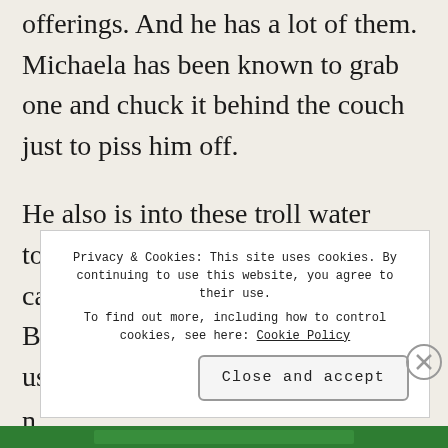offerings. And he has a lot of them. Michaela has been known to grab one and chuck it behind the couch just to piss him off.

He also is into these troll water toys. He can usually be seen carrying Princess Poppy and Branch around. Guy Diamond is usually n p
Privacy & Cookies: This site uses cookies. By continuing to use this website, you agree to their use.
To find out more, including how to control cookies, see here: Cookie Policy
Close and accept